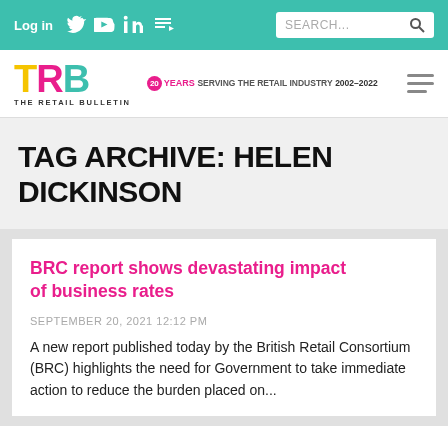Log in | Social icons | SEARCH...
[Figure (logo): TRB - The Retail Bulletin logo with tagline: 20 YEARS SERVING THE RETAIL INDUSTRY 2002-2022]
TAG ARCHIVE: HELEN DICKINSON
BRC report shows devastating impact of business rates
SEPTEMBER 20, 2021 12:12 PM
A new report published today by the British Retail Consortium (BRC) highlights the need for Government to take immediate action to reduce the burden placed on...